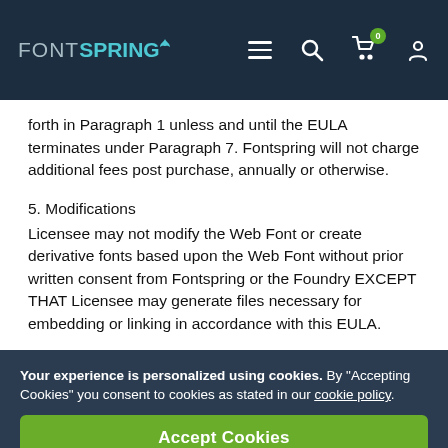FONTSPRING
forth in Paragraph 1 unless and until the EULA terminates under Paragraph 7. Fontspring will not charge additional fees post purchase, annually or otherwise.
5. Modifications
Licensee may not modify the Web Font or create derivative fonts based upon the Web Font without prior written consent from Fontspring or the Foundry EXCEPT THAT Licensee may generate files necessary for embedding or linking in accordance with this EULA.
Your experience is personalized using cookies. By “Accepting Cookies” you consent to cookies as stated in our cookie policy.
Accept Cookies